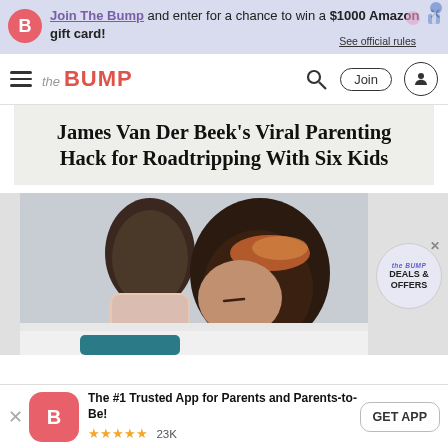Join The Bump and enter for a chance to win a $1000 Amazon gift card! See official rules
the BUMP
James Van Der Beek's Viral Parenting Hack for Roadtripping With Six Kids
[Figure (photo): A mother and child embracing, the child kissing the mother on the cheek]
The #1 Trusted App for Parents and Parents-to-Be! ★★★★★ 23K GET APP